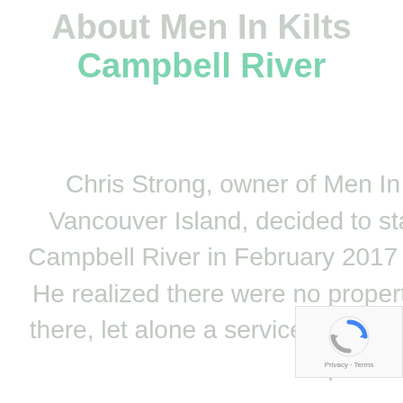About Men In Kilts Campbell River
Chris Strong, owner of Men In Kilts' newest location on North Vancouver Island, decided to start a franchise after he moved to Campbell River in February 2017 after seeing a gap in the services. He realized there were no property maintenance services available there, let alone a service experience that brings the perfect balance of professionalism,
[Figure (other): reCAPTCHA badge showing the reCAPTCHA logo (blue and grey arrows in a circle) with 'Privacy - Terms' text below]